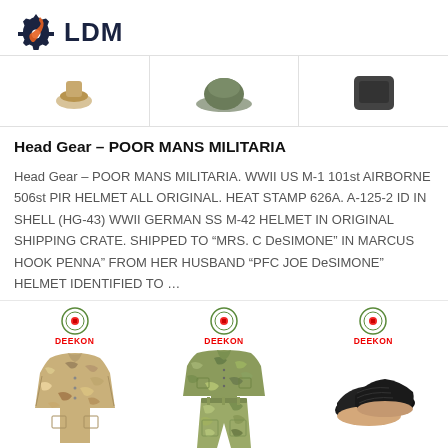[Figure (logo): LDM logo with gear icon in dark navy and orange wrench]
[Figure (photo): Three product images at top of page partially visible: military items]
Head Gear — POOR MANS MILITARIA
Head Gear — POOR MANS MILITARIA. WWII US M-1 101st AIRBORNE 506st PIR HELMET ALL ORIGINAL. HEAT STAMP 626A. A-125-2 ID IN SHELL (HG-43) WWII GERMAN SS M-42 HELMET IN ORIGINAL SHIPPING CRATE. SHIPPED TO "MRS. C DeSIMONE" IN MARCUS HOOK PENNA" FROM HER HUSBAND "PFC JOE DeSIMONE" HELMET IDENTIFIED TO …
[Figure (photo): Three product images at bottom: desert camo BDU jacket with DEEKON logo, desert camo BDU shirt and pants with DEEKON logo, and black slip-on shoes with DEEKON logo]